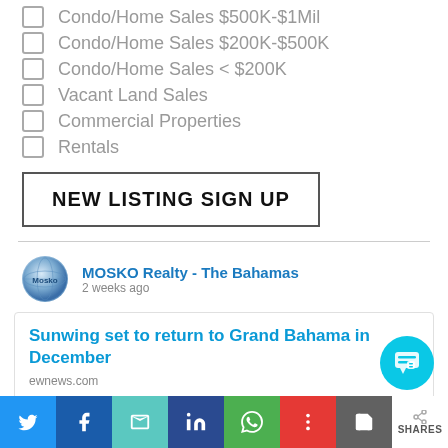Condo/Home Sales $500K-$1Mil
Condo/Home Sales $200K-$500K
Condo/Home Sales < $200K
Vacant Land Sales
Commercial Properties
Rentals
NEW LISTING SIGN UP
MOSKO Realty - The Bahamas
2 weeks ago
Sunwing set to return to Grand Bahama in December
ewnews.com
NASSAU, BAHAMAS — Canadian airline Sun...